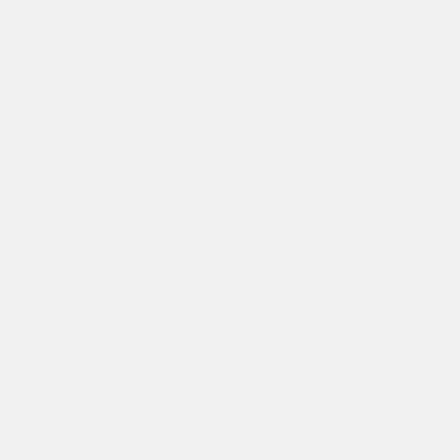Ascoli Piceno hotels deals
back to top
Hotelopia.com — cheap Ascoli P
[Figure (logo): Hotelopia logo — teal background with HH emblem and HOTELOPIA text in white]
Hotelopia. hotels and destinations accommod destination and follow the onscreen inst
related links to Hotelopia.co.uk Ascol
Hotelopia.co.uk cheap hotels Asco
back to top
OnlineTravel.com — cheap acco